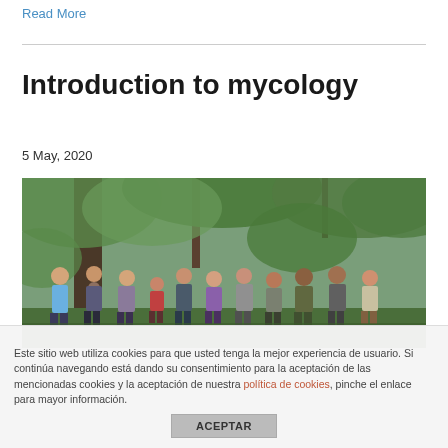Read More
Introduction to mycology
5 May, 2020
[Figure (photo): Group of people standing together in a forest with tall trees and green foliage in the background. Multiple adults posing together outdoors.]
Este sitio web utiliza cookies para que usted tenga la mejor experiencia de usuario. Si continúa navegando está dando su consentimiento para la aceptación de las mencionadas cookies y la aceptación de nuestra política de cookies, pinche el enlace para mayor información.
ACEPTAR